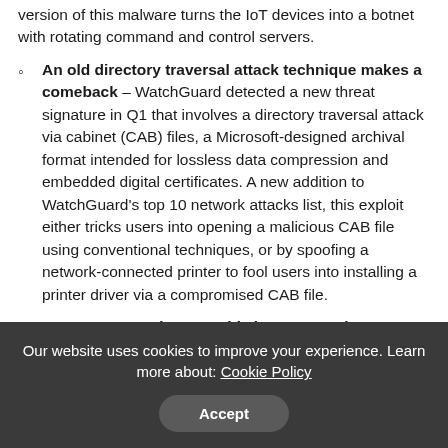version of this malware turns the IoT devices into a botnet with rotating command and control servers.
An old directory traversal attack technique makes a comeback – WatchGuard detected a new threat signature in Q1 that involves a directory traversal attack via cabinet (CAB) files, a Microsoft-designed archival format intended for lossless data compression and embedded digital certificates. A new addition to WatchGuard's top 10 network attacks list, this exploit either tricks users into opening a malicious CAB file using conventional techniques, or by spoofing a network-connected printer to fool users into installing a printer driver via a compromised CAB file.
HAFNIUM zero days provide lessons on threat tactics and response best practices – Last quarter, Microsoft
Our website uses cookies to improve your experience. Learn more about: Cookie Policy
Accept